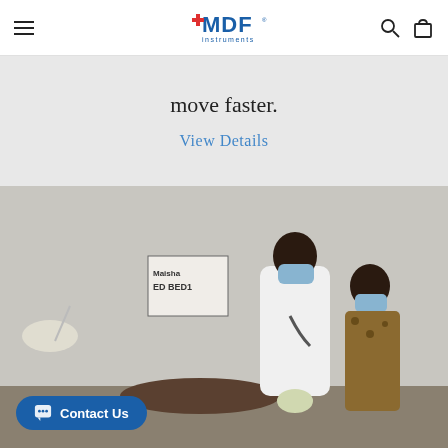MDF Instruments
move faster.
View Details
[Figure (photo): A doctor in a white coat and blue face mask examines a young child lying on a medical bed. Another person wearing a mask and leopard-print clothing watches in the background. A sign on the wall reads 'ED BED1'. The scene appears to be in a medical facility in Africa.]
Contact Us